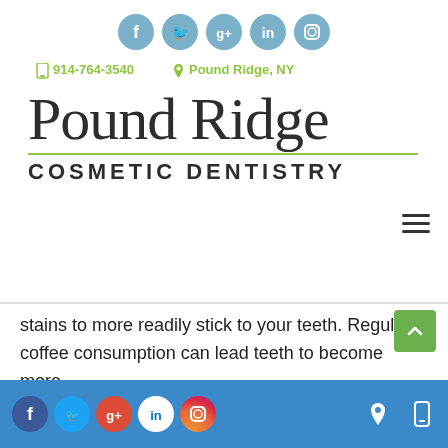[Figure (other): Social media icons row at top: Facebook, Twitter, Google+, LinkedIn, Instagram — all in grey/blue circles]
914-764-3540    Pound Ridge, NY
Pound Ridge COSMETIC DENTISTRY
stains to more readily stick to your teeth. Regular coffee consumption can lead teeth to become more
[Figure (other): Bottom navigation bar with social icons (Facebook, Twitter, Google+, LinkedIn, Instagram) and location/phone icons on right, blue background]